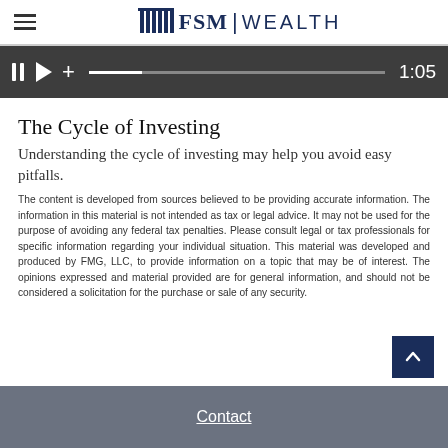FSM WEALTH
[Figure (screenshot): Video player bar showing pause button, play button, plus icon, progress bar at ~20%, and timestamp 1:05]
The Cycle of Investing
Understanding the cycle of investing may help you avoid easy pitfalls.
The content is developed from sources believed to be providing accurate information. The information in this material is not intended as tax or legal advice. It may not be used for the purpose of avoiding any federal tax penalties. Please consult legal or tax professionals for specific information regarding your individual situation. This material was developed and produced by FMG, LLC, to provide information on a topic that may be of interest. The opinions expressed and material provided are for general information, and should not be considered a solicitation for the purchase or sale of any security.
Contact